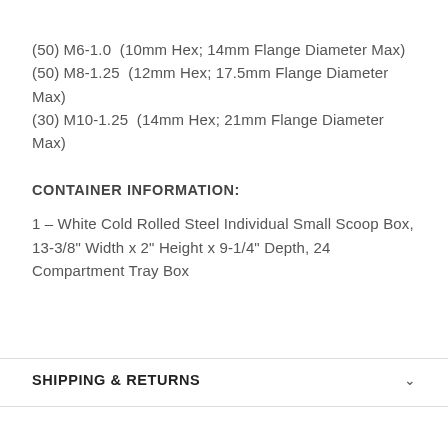(50) M6-1.0  (10mm Hex; 14mm Flange Diameter Max)
(50) M8-1.25  (12mm Hex; 17.5mm Flange Diameter Max)
(30) M10-1.25  (14mm Hex; 21mm Flange Diameter Max)
CONTAINER INFORMATION:
1 – White Cold Rolled Steel Individual Small Scoop Box, 13-3/8" Width x 2" Height x 9-1/4" Depth, 24 Compartment Tray Box
SHIPPING & RETURNS